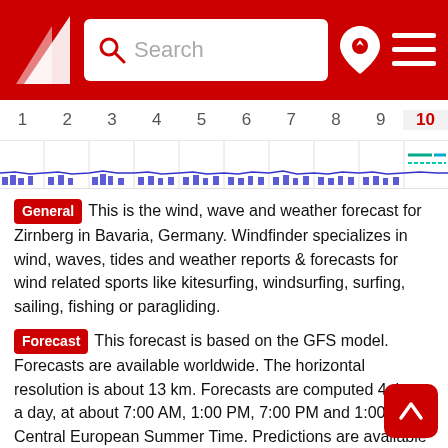Windfinder — Search bar header with logo and navigation icons
[Figure (other): Horizontal day-number timeline (1 through 10) with a blue wind forecast chart and colored legend lines. Day 10 is highlighted in red.]
General This is the wind, wave and weather forecast for Zirnberg in Bavaria, Germany. Windfinder specializes in wind, waves, tides and weather reports & forecasts for wind related sports like kitesurfing, windsurfing, surfing, sailing, fishing or paragliding.
Forecast This forecast is based on the GFS model. Forecasts are available worldwide. The horizontal resolution is about 13 km. Forecasts are computed 4 times a day, at about 7:00 AM, 1:00 PM, 7:00 PM and 1:00 AM Central European Summer Time. Predictions are available in time steps of 3 hours for up to 10 days into the future. The arrows point in the direction in which the wind is blowing.
Check the wind forecast for Zirnberg when you search for the best travel destinations for your kiteboarding, windsurfing or sailing vacations in Germany. Or use our wind forecast to find the wind